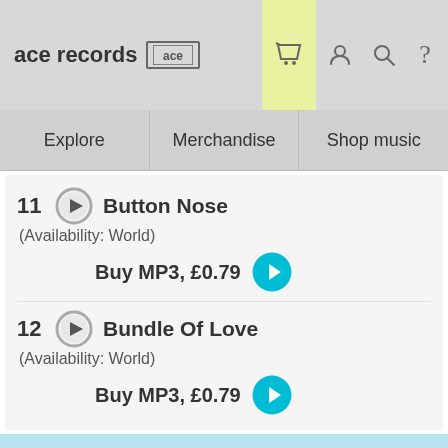ace records [logo]
Explore | Merchandise | Shop music
11  Button Nose
(Availability: World)
Buy MP3, £0.79
12  Bundle Of Love
(Availability: World)
Buy MP3, £0.79
Please note our website uses cookies to improve your experience. I understand. For more information see our Privacy Notice & Cookie Policy.